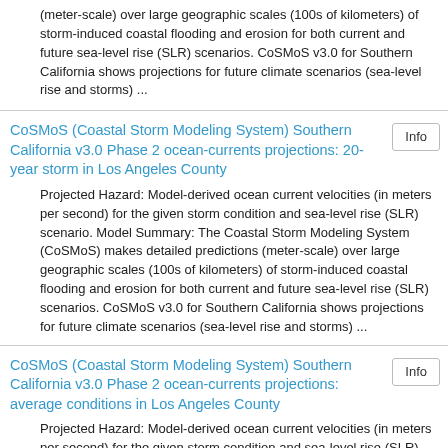(meter-scale) over large geographic scales (100s of kilometers) of storm-induced coastal flooding and erosion for both current and future sea-level rise (SLR) scenarios. CoSMoS v3.0 for Southern California shows projections for future climate scenarios (sea-level rise and storms) ...
CoSMoS (Coastal Storm Modeling System) Southern California v3.0 Phase 2 ocean-currents projections: 20-year storm in Los Angeles County
Projected Hazard: Model-derived ocean current velocities (in meters per second) for the given storm condition and sea-level rise (SLR) scenario. Model Summary: The Coastal Storm Modeling System (CoSMoS) makes detailed predictions (meter-scale) over large geographic scales (100s of kilometers) of storm-induced coastal flooding and erosion for both current and future sea-level rise (SLR) scenarios. CoSMoS v3.0 for Southern California shows projections for future climate scenarios (sea-level rise and storms) ...
CoSMoS (Coastal Storm Modeling System) Southern California v3.0 Phase 2 ocean-currents projections: average conditions in Los Angeles County
Projected Hazard: Model-derived ocean current velocities (in meters per second) for the given storm condition and sea-level rise (SLR) scenario. Model Summary: The Coastal Storm